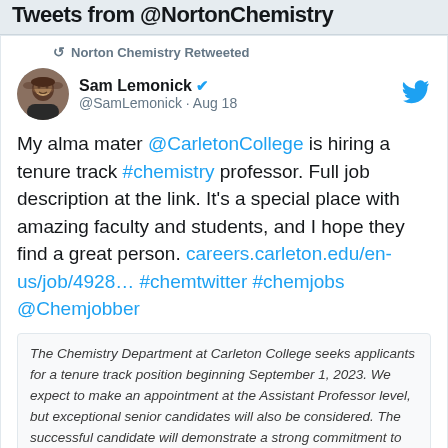Tweets from @NortonChemistry
Norton Chemistry Retweeted
Sam Lemonick @SamLemonick · Aug 18
My alma mater @CarletonCollege is hiring a tenure track #chemistry professor. Full job description at the link. It's a special place with amazing faculty and students, and I hope they find a great person. careers.carleton.edu/en-us/job/4928… #chemtwitter #chemjobs @Chemjobber
The Chemistry Department at Carleton College seeks applicants for a tenure track position beginning September 1, 2023. We expect to make an appointment at the Assistant Professor level, but exceptional senior candidates will also be considered. The successful candidate will demonstrate a strong commitment to teaching and research with undergraduate students in a liberal arts environment. The position is open to candidates in all areas of chemistry, and we welcome applicants whose interests will enable connections to